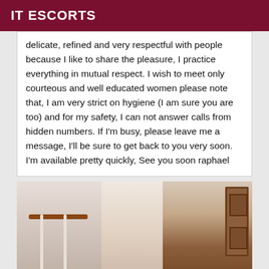IT ESCORTS
delicate, refined and very respectful with people because I like to share the pleasure, I practice everything in mutual respect. I wish to meet only courteous and well educated women please note that, I am very strict on hygiene (I am sure you are too) and for my safety, I can not answer calls from hidden numbers. If I'm busy, please leave me a message, I'll be sure to get back to you very soon. I'm available pretty quickly, See you soon raphael
[Figure (photo): A woman wearing glasses and a patterned headscarf, leaning on a staircase railing. Interior setting with a wooden door visible on the right side.]